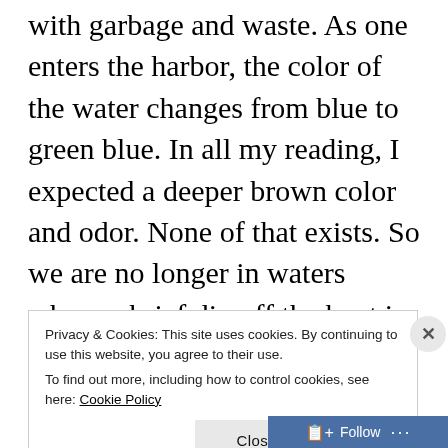with garbage and waste. As one enters the harbor, the color of the water changes from blue to green blue. In all my reading, I expected a deeper brown color and odor. None of that exists. So we are no longer in waters where a brief dip off the boat in the afternoon or evening are luxury. Showers are done on the transom or in the cockpit or shower aboard. That is fine....we have an incredibly safe location with the most awesome view of the
Privacy & Cookies: This site uses cookies. By continuing to use this website, you agree to their use.
To find out more, including how to control cookies, see here: Cookie Policy
Close and accept
Follow ...